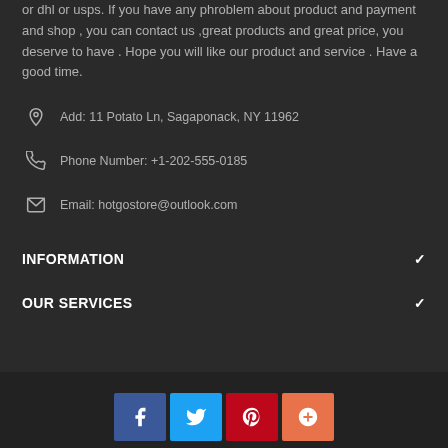or dhl or usps. If you have any phroblem about product and payment and shop , you can contact us ,great products and great price, you deserve to have . Hope you will like our product and service . Have a good time.
Add: 11 Potato Ln, Sagaponack, NY 11962
Phone Number: +1-202-555-0185
Email: hotgostore@outlook.com
INFORMATION
OUR SERVICES
[Figure (other): Social media icon buttons: Facebook (blue), Twitter (light blue), Pinterest (red), Google Plus (orange-red)]